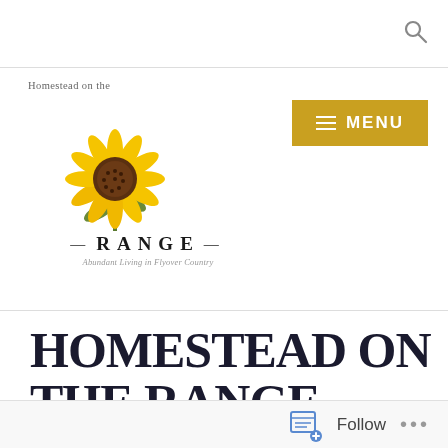[Figure (logo): Homestead on the Range logo with sunflower image, site name text and tagline 'Abundant Living in Flyover Country']
[Figure (screenshot): Golden/amber colored menu button with hamburger lines icon and text MENU]
HOMESTEAD ON THE RANGE
[Figure (photo): Close-up photo of horse mane hair, showing dark brown and light cream/white fur textures]
Follow ...